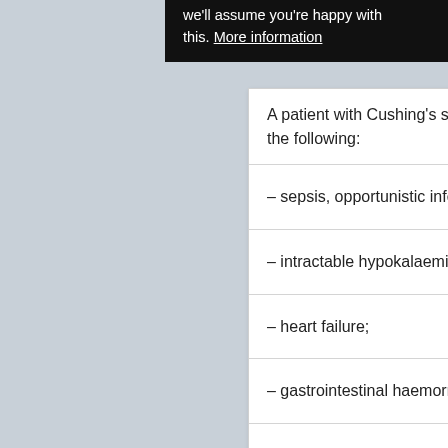we'll assume you're happy with this. More information
A patient with Cushing's syndrome and recent onset of one or more of the following:
– sepsis, opportunistic infection;
– intractable hypokalaemia, uncontrolled hypertension;
– heart failure;
– gastrointestinal haemorrhage;
– glucocorticoid-induced acute psychosis;